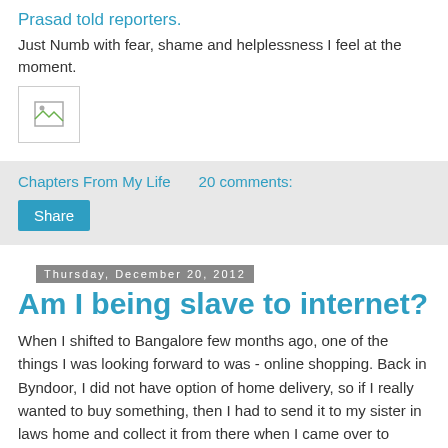Prasad told reporters.
Just Numb with fear, shame and helplessness I feel at the moment.
[Figure (other): Broken image placeholder icon]
Chapters From My Life    20 comments:
Share
Thursday, December 20, 2012
Am I being slave to internet?
When I shifted to Bangalore few months ago, one of the things I was looking forward to was - online shopping. Back in Byndoor, I did not have option of home delivery, so if I really wanted to buy something, then I had to send it to my sister in laws home and collect it from there when I came over to Bangalore.
Many people told me that online shopping was not a good idea and